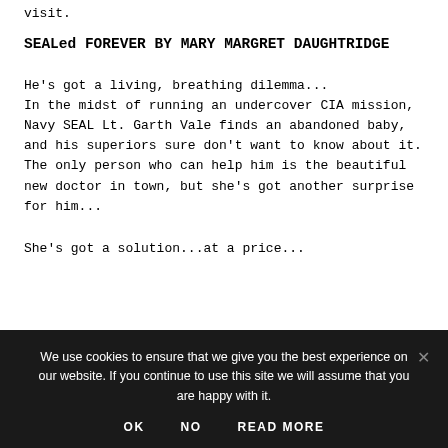visit.
SEALed FOREVER BY MARY MARGRET DAUGHTRIDGE
He's got a living, breathing dilemma...
In the midst of running an undercover CIA mission, Navy SEAL Lt. Garth Vale finds an abandoned baby, and his superiors sure don't want to know about it. The only person who can help him is the beautiful new doctor in town, but she's got another surprise for him...
She's got a solution...at a price...
We use cookies to ensure that we give you the best experience on our website. If you continue to use this site we will assume that you are happy with it.
OK   NO   READ MORE